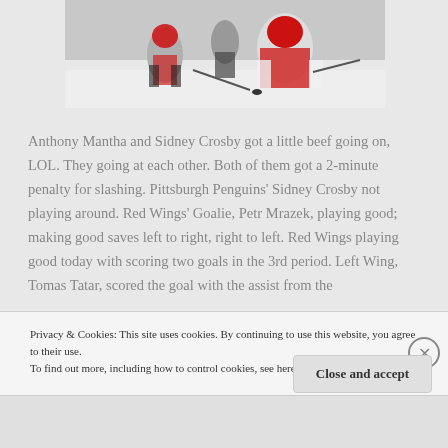[Figure (photo): Hockey game photo showing players on ice, including a goalie in red and white uniform and other players skating]
Anthony Mantha and Sidney Crosby got a little beef going on, LOL. They going at each other. Both of them got a 2-minute penalty for slashing. Pittsburgh Penguins' Sidney Crosby not playing around. Red Wings' Goalie, Petr Mrazek, playing good; making good saves left to right, right to left. Red Wings playing good today with scoring two goals in the 3rd period. Left Wing, Tomas Tatar, scored the goal with the assist from the
Privacy & Cookies: This site uses cookies. By continuing to use this website, you agree to their use.
To find out more, including how to control cookies, see here: Cookie Policy
Close and accept